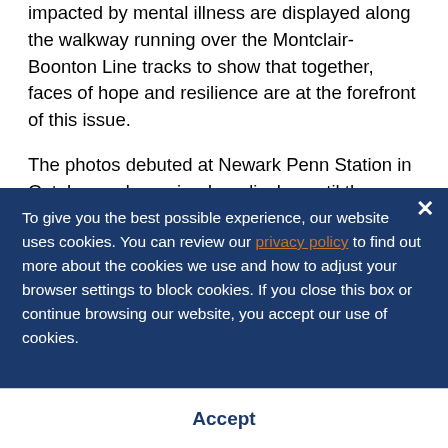Five large-scale photographic portraits of individuals impacted by mental illness are displayed along the walkway running over the Montclair-Boonton Line tracks to show that together, faces of hope and resilience are at the forefront of this issue.
The photos debuted at Newark Penn Station in October and remained on display until they were transferred to the Frank R. Lautenberg Station at Secaucus Junction in December.
To give you the best possible experience, our website uses cookies. You can review our privacy policy to find out more about the cookies we use and how to adjust your browser settings to block cookies. If you close this box or continue browsing our website, you accept our use of cookies.
Accept